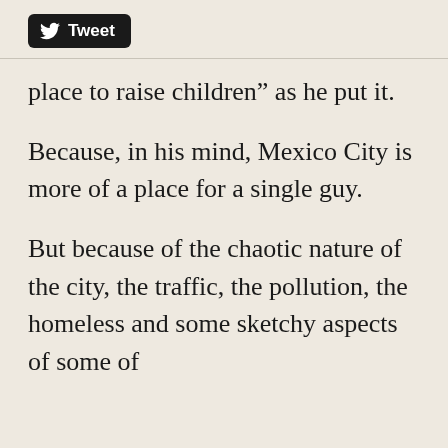[Figure (other): Tweet button with Twitter bird logo]
place to raise children” as he put it.
Because, in his mind, Mexico City is more of a place for a single guy.
But because of the chaotic nature of the city, the traffic, the pollution, the homeless and some sketchy aspects of some of